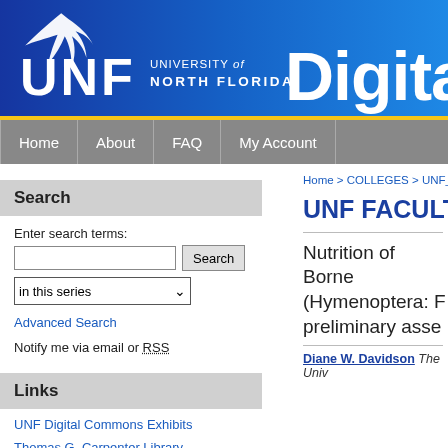[Figure (logo): University of North Florida Digital Commons header banner with UNF logo, osprey bird symbol, and 'Digital' text on blue gradient background]
Home | About | FAQ | My Account
Search
Enter search terms:
in this series
Advanced Search
Notify me via email or RSS
Links
UNF Digital Commons Exhibits
Thomas G. Carpenter Library
Home > COLLEGES > UNF_FAC
UNF FACULTY
Nutrition of Borne (Hymenoptera: F preliminary asse
Diane W. Davidson, The Univ